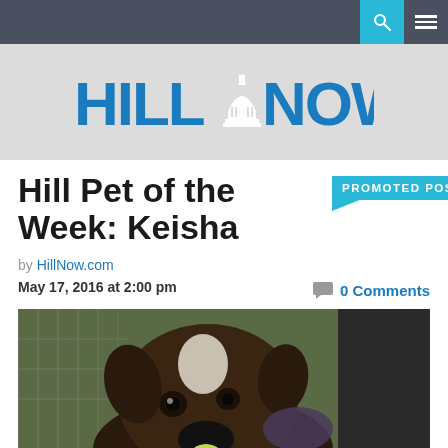HillNow.com
Hill Pet of the Week: Keisha
PROMOTED POST
by HillNow.com
May 17, 2016 at 2:00 pm
0 Comments
[Figure (photo): Close-up photo of a dog (Keisha), a dark-colored boxer/pit bull mix with a white blaze on the forehead, holding a tennis ball in its mouth, being petted by a person outdoors near a chain-link fence.]